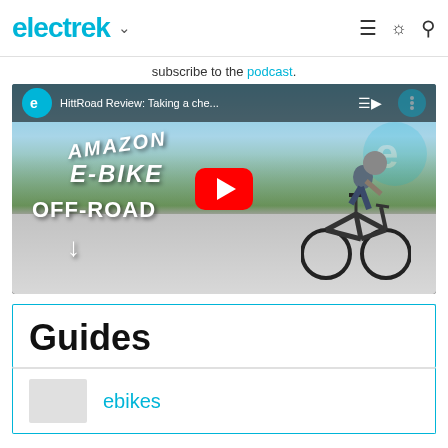electrek
subscribe to the podcast.
[Figure (screenshot): YouTube video embed thumbnail showing a man riding a black e-bike off-road/on a path, with text overlays reading 'AMAZON E-BIKE' and 'OFF-ROAD', a red YouTube play button in the center, and the video title 'HittRoad Review: Taking a che...' in the top bar]
Guides
ebikes